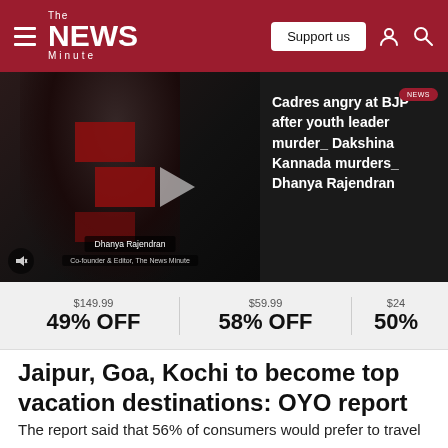The NEWS Minute — Support us
[Figure (screenshot): News website screenshot showing a video player with a woman and red geometric shapes, alongside a news headline about BJP cadres angry after youth leader murder in Dakshina Kannada, reported by Dhanya Rajendran]
$149.99  49% OFF    $59.99  58% OFF    $24  50%
Jaipur, Goa, Kochi to become top vacation destinations: OYO report
The report said that 56% of consumers would prefer to travel in private vehicles to nearby locations, with family or friends,